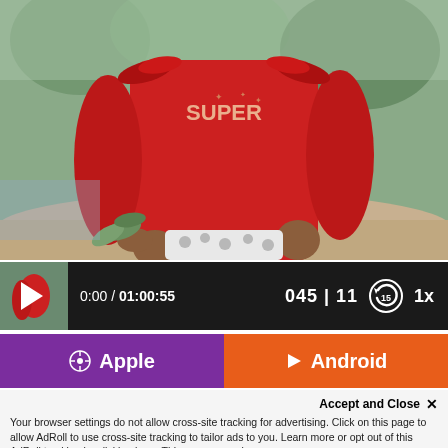[Figure (photo): Child wearing a red long-sleeve shirt with 'SUPER' text, holding green leaves, standing near a log outdoors]
[Figure (screenshot): Podcast player bar showing thumbnail of child in red shirt, play button, time 0:00 / 01:00:55, episode counter 045 | 11, replay 15 button, and 1x speed button]
[Figure (screenshot): Two app download buttons: purple Apple button with podcast icon and orange Android button with play icon]
Accept and Close ✕
Your browser settings do not allow cross-site tracking for advertising. Click on this page to allow AdRoll to use cross-site tracking to tailor ads to you. Learn more or opt out of this AdRoll tracking by clicking here. This message only appears once.